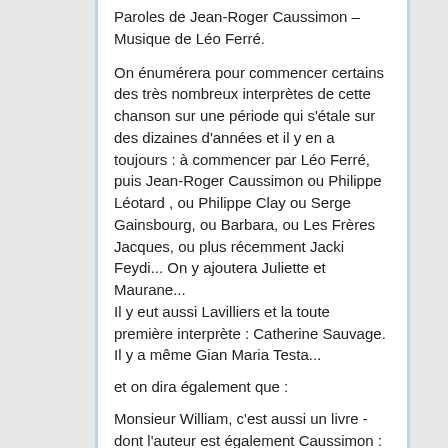Paroles de Jean-Roger Caussimon – Musique de Léo Ferré.
On énumérera pour commencer certains des très nombreux interprètes de cette chanson sur une période qui s'étale sur des dizaines d'années et il y en a toujours : à commencer par Léo Ferré, puis Jean-Roger Caussimon ou Philippe Léotard , ou Philippe Clay ou Serge Gainsbourg, ou Barbara, ou Les Frères Jacques, ou plus récemment Jacki Feydi... On y ajoutera Juliette et Maurane...
Il y eut aussi Lavilliers et la toute première interprète : Catherine Sauvage. Il y a même Gian Maria Testa...
et on dira également que :
Monsieur William, c'est aussi un livre - dont l'auteur est également Caussimon :